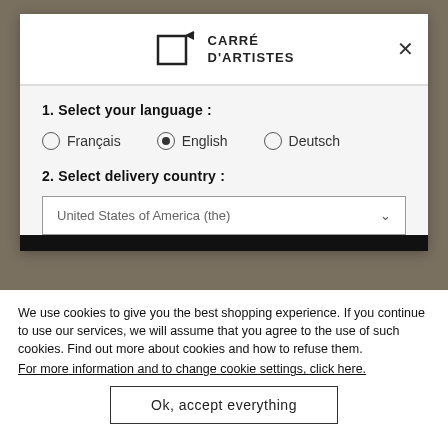[Figure (logo): Carré d'Artistes logo with square icon and text]
1. Select your language :
○ Français   ● English   ○ Deutsch
2. Select delivery country :
United States of America (the)
We use cookies to give you the best shopping experience. If you continue to use our services, we will assume that you agree to the use of such cookies. Find out more about cookies and how to refuse them.
For more information and to change cookie settings, click here.
Ok, accept everything